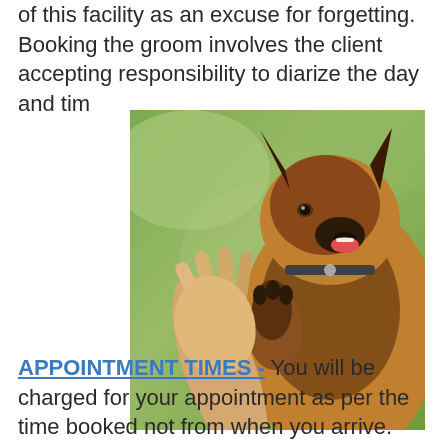of this facility as an excuse for forgetting. Booking the groom involves the client accepting responsibility to diarize the day and tim
[Figure (photo): A German Shepherd dog giving a high-five with its paw to a human hand, blurred green background]
APPOINTMENT TIMES - You will be charged for your appointment as per the time booked not from when you arrive. The groomer may not need all